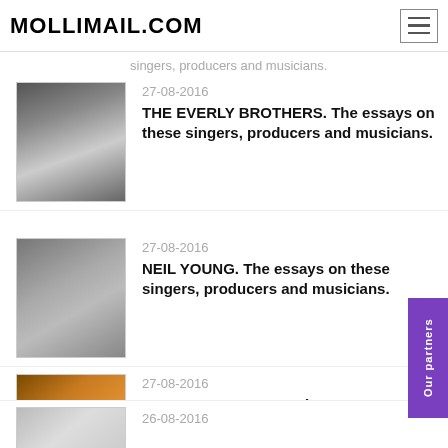MOLLIMAIL.COM
singers, producers and musicians.
27-08-2016
THE EVERLY BROTHERS. The essays on these singers, producers and musicians.
27-08-2016
NEIL YOUNG. The essays on these singers, producers and musicians.
27-08-2016
MICHAEL JACKSON. The essays on these singers, producers and musicians.
26-08-2016